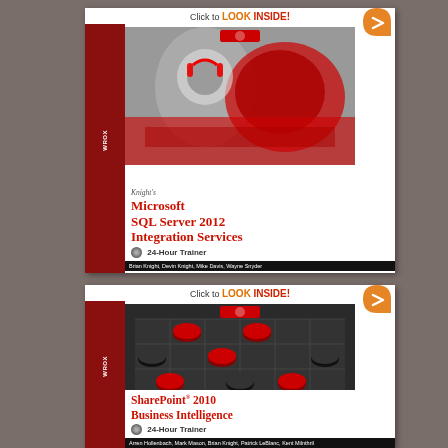[Figure (illustration): Book cover thumbnail for 'Knight's Microsoft SQL Server 2012 Integration Services 24-Hour Trainer' showing a formula one racing car with a person in headphones. White card with spine, 'Click to LOOK INSIDE!' banner at top, red arrow badge, white book text region with title, CD icon, and authors bar.]
[Figure (illustration): Book cover thumbnail for 'SharePoint 2010 Business Intelligence 24-Hour Trainer' showing checkers/draughts game pieces in black and red on a board. White card with 'Click to LOOK INSIDE!' banner at top, red arrow badge, white book text region with title, disc icon, and authors bar.]